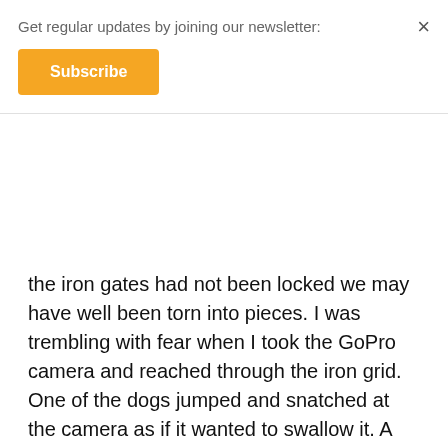Get regular updates by joining our newsletter:
Subscribe
the iron gates had not been locked we may have well been torn into pieces. I was trembling with fear when I took the GoPro camera and reached through the iron grid. One of the dogs jumped and snatched at the camera as if it wanted to swallow it. A Chinese trader from next door came in to feed the dogs that he clearly kept as commodities to be sold one day; what was funny was that when this guy who only spoke Sichuan dialect called a Tibetan security guard to kick us out I used Tibetan to ask “tell me, who is the actual owner of this place?” The Tibetan guard looked bewildered.